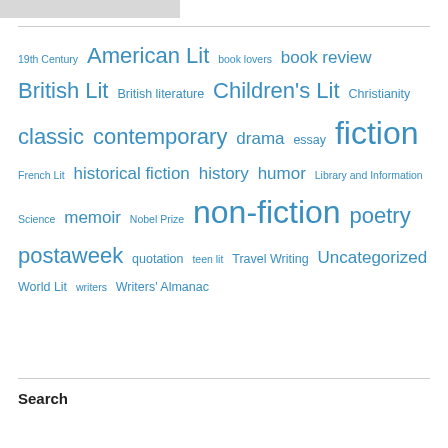[Figure (illustration): Partial image of a book or decorative graphic at top left]
[Figure (infographic): Tag cloud with book/literature related tags in varying sizes and blue color: 19th Century, American Lit, book lovers, book review, British Lit, British literature, Children's Lit, Christianity, classic, contemporary, drama, essay, fiction, French Lit, historical fiction, history, humor, Library and Information Science, memoir, Nobel Prize, non-fiction, poetry, postaweek, quotation, teen lit, Travel Writing, Uncategorized, World Lit, writers, Writers' Almanac]
Search